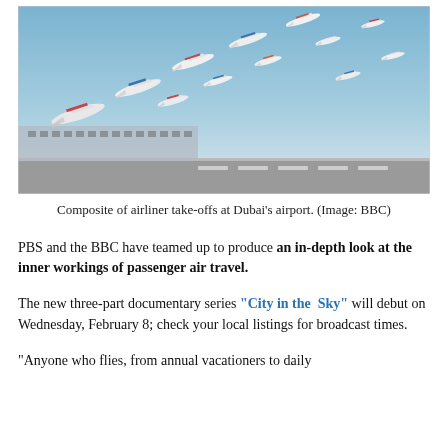[Figure (photo): Composite photograph of many airliners taking off at Dubai's airport against a blue sky, with airport terminal visible below.]
Composite of airliner take-offs at Dubai's airport. (Image: BBC)
PBS and the BBC have teamed up to produce an in-depth look at the inner workings of passenger air travel.
The new three-part documentary series “City in the Sky” will debut on Wednesday, February 8; check your local listings for broadcast times.
“Anyone who flies, from annual vacationers to daily